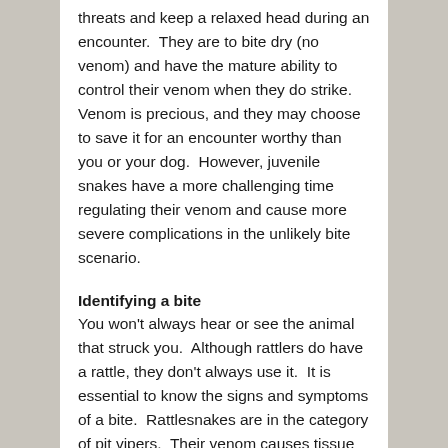threats and keep a relaxed head during an encounter.  They are to bite dry (no venom) and have the mature ability to control their venom when they do strike.  Venom is precious, and they may choose to save it for an encounter worthy than you or your dog.  However, juvenile snakes have a more challenging time regulating their venom and cause more severe complications in the unlikely bite scenario.
Identifying a bite
You won't always hear or see the animal that struck you.  Although rattlers do have a rattle, they don't always use it.  It is essential to know the signs and symptoms of a bite.  Rattlesnakes are in the category of pit vipers.  Their venom causes tissue damage and hemorrhaging.